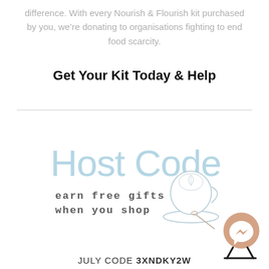difference. With every Nourish & Flourish kit purchased by you, we’re donating to organisations fighting to end food scarcity.
Get Your Kit Today & Help
[Figure (logo): Host Code decorative script logo with 'earn free gifts when you shop' text and a latte art coffee cup illustration]
[Figure (logo): Facebook Messenger icon in a tan/beige circular badge with black stand/legs]
JULY CODE 3XNDKY2W